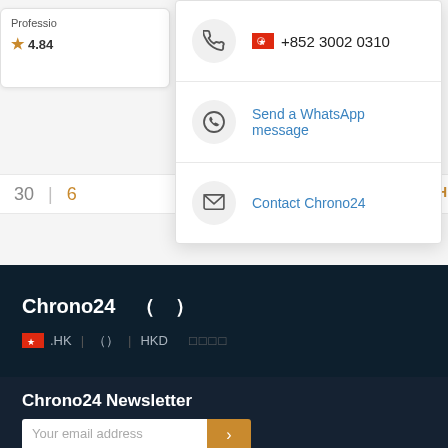[Figure (screenshot): Partial view of a professional listing card showing 'Professio...' label and star rating 4.84]
30 | 6 | 50
[Figure (screenshot): Dropdown contact menu showing three options: phone +852 3002 0310, Send a WhatsApp message, and Contact Chrono24]
+852 3002 0310
Send a WhatsApp message
Contact Chrono24
Chrono24（）
.HK |（）| HKD　□□□□
Chrono24 Newsletter
Your email address
Set